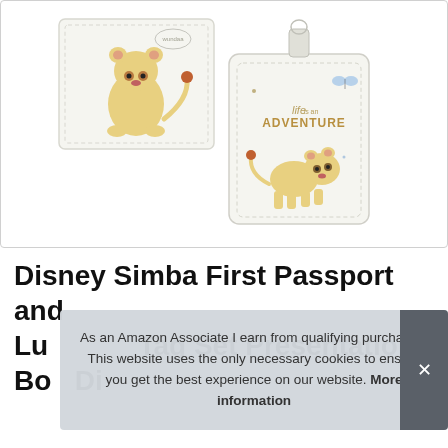[Figure (photo): Product photo showing a Disney Simba passport holder and luggage tag set. The passport cover is white with a cartoon baby Simba sitting, and the luggage tag is white with a strap, showing baby Simba walking and the text 'life is an ADVENTURE' with a small butterfly.]
Disney Simba First Passport and Lu... Tag Set Presentation Bo... Di...
As an Amazon Associate I earn from qualifying purchases. This website uses the only necessary cookies to ensure you get the best experience on our website. More information